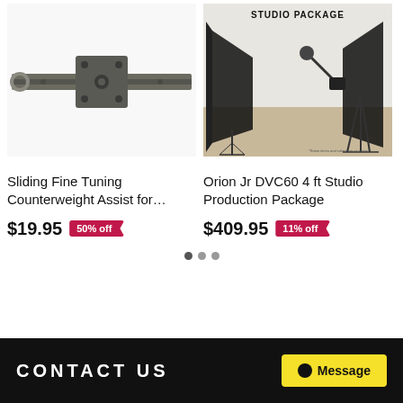[Figure (photo): Camera slider rail with black square counterweight mount block]
[Figure (photo): Studio lighting package with softboxes, light stands, and camera arm. Text 'STUDIO PACKAGE' visible at top.]
Sliding Fine Tuning Counterweight Assist for…
$19.95 50% off
Orion Jr DVC60 4 ft Studio Production Package
$409.95 11% off
CONTACT US
Message